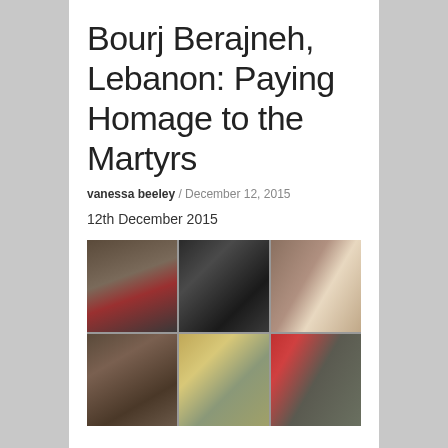Bourj Berajneh, Lebanon: Paying Homage to the Martyrs
vanessa beeley / December 12, 2015
12th December 2015
[Figure (photo): A 2x3 grid of six photographs related to Bourj Berajneh, Lebanon. Top row: a man in a dark beanie hat with red flowers visible, a dark abstract image with diagonal lines, a framed portrait photo of a man holding a baby. Bottom row: a group of people seated outdoors in a historical-looking setting, a cityscape/hillside view at dusk, a memorial display with framed photos on a red-trimmed structure.]